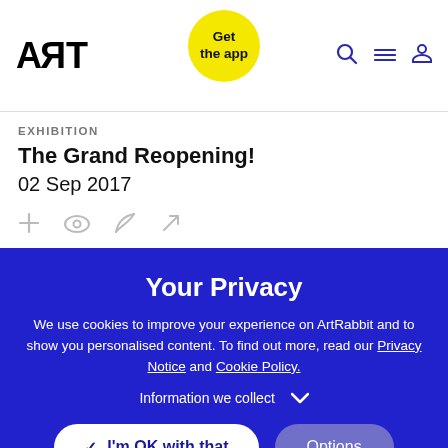ART — Get the app — navigation icons
EXHIBITION
The Grand Reopening!
02 Sep 2017
Your Privacy
We use cookies to improve your experience on ArtRabbit and to show you personalised content. To find out more, read our Privacy Notice and Cookie Policy.
Information we collect
I'm OK with that
Options